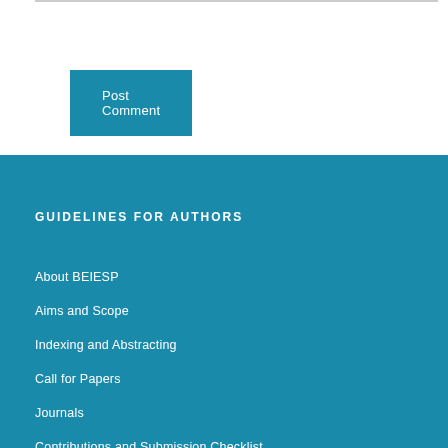Post Comment
GUIDELINES FOR AUTHORS
About BEIESP
Aims and Scope
Indexing and Abstracting
Call for Papers
Journals
Contributions and Submission Checklist
Data Access and Retention